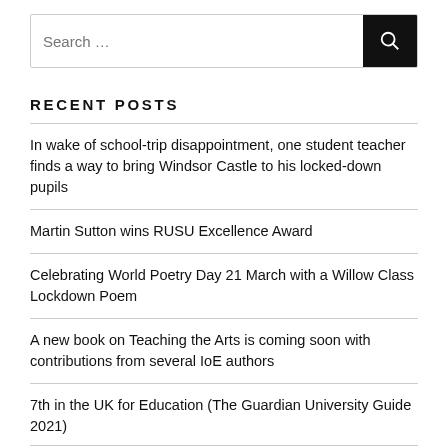[Figure (other): Search input box with placeholder 'Search ...' and a black search button with magnifying glass icon]
RECENT POSTS
In wake of school-trip disappointment, one student teacher finds a way to bring Windsor Castle to his locked-down pupils
Martin Sutton wins RUSU Excellence Award
Celebrating World Poetry Day 21 March with a Willow Class Lockdown Poem
A new book on Teaching the Arts is coming soon with contributions from several IoE authors
7th in the UK for Education (The Guardian University Guide 2021)